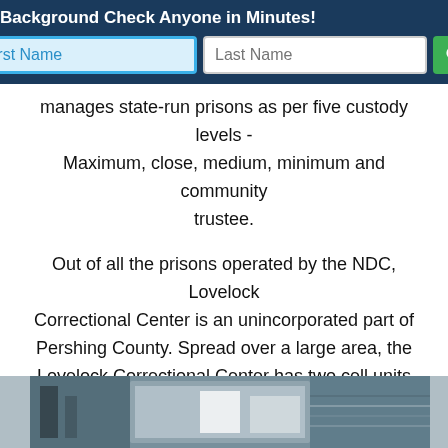[Figure (screenshot): Background check search widget with dark navy header reading 'Background Check Anyone in Minutes!' and input fields for First Name and Last Name with a green search button]
manages state-run prisons as per five custody levels - Maximum, close, medium, minimum and community trustee.
Out of all the prisons operated by the NDC, Lovelock Correctional Center is an unincorporated part of Pershing County. Spread over a large area, the Lovelock Correctional Center has two cell units and has a capacity to house 1680 inmates.
[Figure (photo): Partial photo of what appears to be a correctional facility exterior, showing fence or security infrastructure against a blue sky]